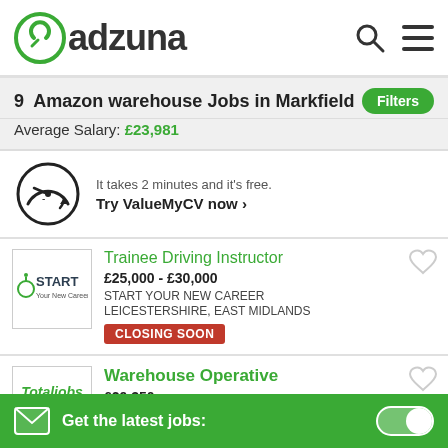adzuna
9  Amazon warehouse Jobs in Markfield
Average Salary: £23,981
[Figure (other): ValueMyCV speedometer icon with text: It takes 2 minutes and it's free. Try ValueMyCV now ›]
Trainee Driving Instructor
£25,000 - £30,000
START YOUR NEW CAREER
LEICESTERSHIRE, EAST MIDLANDS
CLOSING SOON
Warehouse Operative
£29,350
Get the latest jobs: